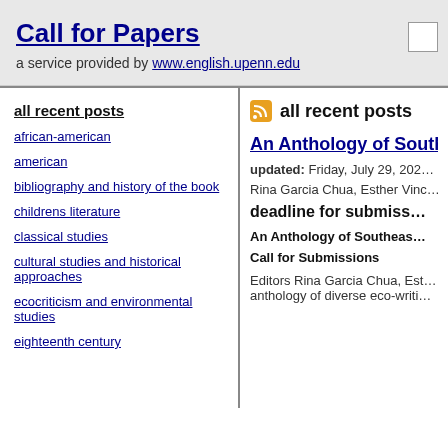Call for Papers
a service provided by www.english.upenn.edu
all recent posts
african-american
american
bibliography and history of the book
childrens literature
classical studies
cultural studies and historical approaches
ecocriticism and environmental studies
eighteenth century
all recent posts
An Anthology of Sout...
updated: Friday, July 29, 202...
Rina Garcia Chua, Esther Vinc...
deadline for submiss...
An Anthology of Southeas...
Call for Submissions
Editors Rina Garcia Chua, Est...
anthology of diverse eco-writi...